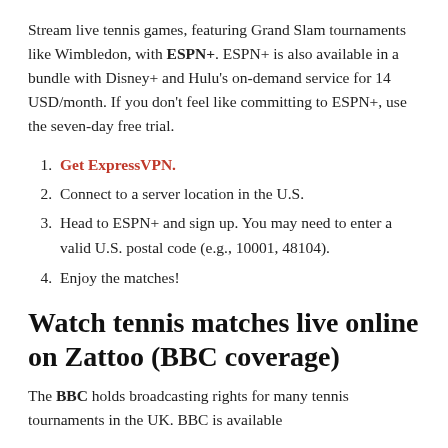Stream live tennis games, featuring Grand Slam tournaments like Wimbledon, with ESPN+. ESPN+ is also available in a bundle with Disney+ and Hulu's on-demand service for 14 USD/month. If you don't feel like committing to ESPN+, use the seven-day free trial.
1. Get ExpressVPN.
2. Connect to a server location in the U.S.
3. Head to ESPN+ and sign up. You may need to enter a valid U.S. postal code (e.g., 10001, 48104).
4. Enjoy the matches!
Watch tennis matches live online on Zattoo (BBC coverage)
The BBC holds broadcasting rights for many tennis tournaments in the UK. BBC is available...